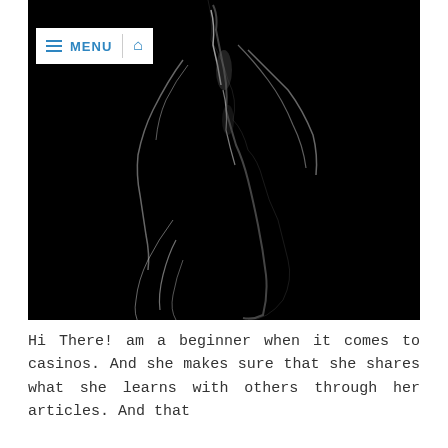[Figure (photo): Dark artistic black and white photograph of a human figure with smoke-like elements against a black background, with a MENU and home navigation bar overlaid in the top-left corner.]
Hi There! am a beginner when it comes to casinos. And she makes sure that she shares what she learns with others through her articles. And that